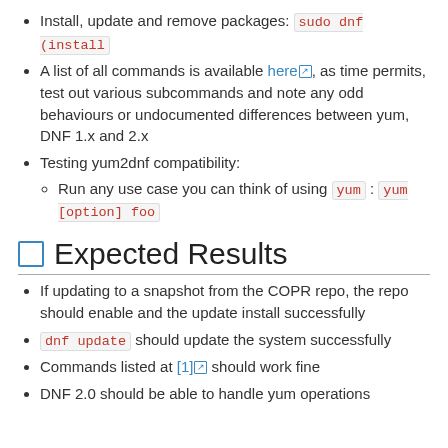Install, update and remove packages: sudo dnf (install
A list of all commands is available here, as time permits, test out various subcommands and note any odd behaviours or undocumented differences between yum, DNF 1.x and 2.x
Testing yum2dnf compatibility:
Run any use case you can think of using yum : yum [option] foo
Expected Results
If updating to a snapshot from the COPR repo, the repo should enable and the update install successfully
dnf update should update the system successfully
Commands listed at [1] should work fine
DNF 2.0 should be able to handle yum operations